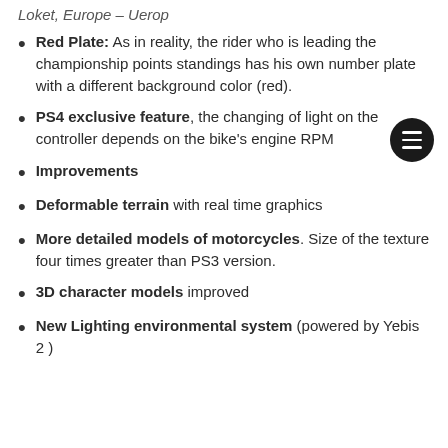Loket, Europe – Uerop
Red Plate: As in reality, the rider who is leading the championship points standings has his own number plate with a different background color (red).
PS4 exclusive feature, the changing of light on the controller depends on the bike's engine RPM
Improvements
Deformable terrain with real time graphics
More detailed models of motorcycles. Size of the texture four times greater than PS3 version.
3D character models improved
New Lighting environmental system (powered by Yebis 2 )